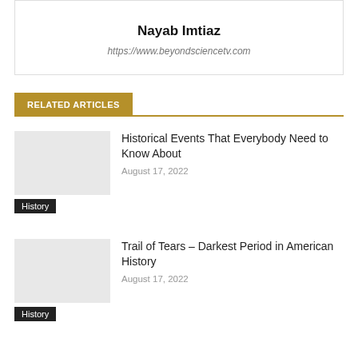Nayab Imtiaz
https://www.beyondsciencetv.com
RELATED ARTICLES
Historical Events That Everybody Need to Know About
August 17, 2022
History
Trail of Tears – Darkest Period in American History
August 17, 2022
History